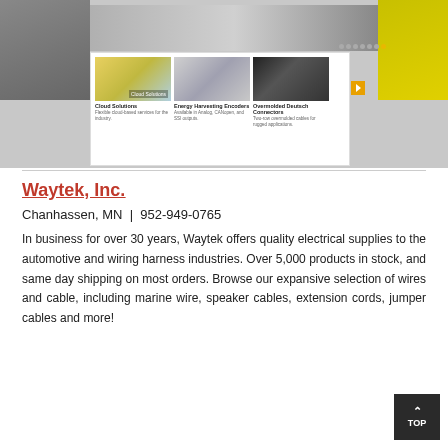[Figure (screenshot): Website screenshot showing a product carousel with Cloud Solutions, Energy Harvesting Encoders, and Overmolded Deutsch Connectors product images and descriptions]
Waytek, Inc.
Chanhassen, MN  |  952-949-0765
In business for over 30 years, Waytek offers quality electrical supplies to the automotive and wiring harness industries. Over 5,000 products in stock, and same day shipping on most orders. Browse our expansive selection of wires and cable, including marine wire, speaker cables, extension cords, jumper cables and more!